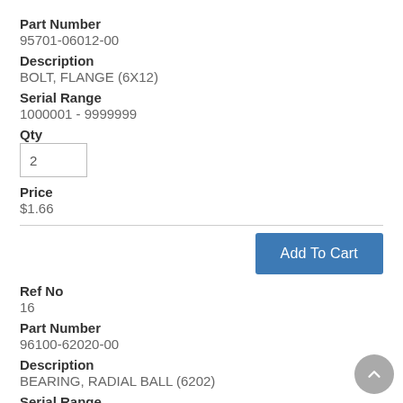Part Number
95701-06012-00
Description
BOLT, FLANGE (6X12)
Serial Range
1000001 - 9999999
Qty
2
Price
$1.66
Ref No
16
Part Number
96100-62020-00
Description
BEARING, RADIAL BALL (6202)
Serial Range